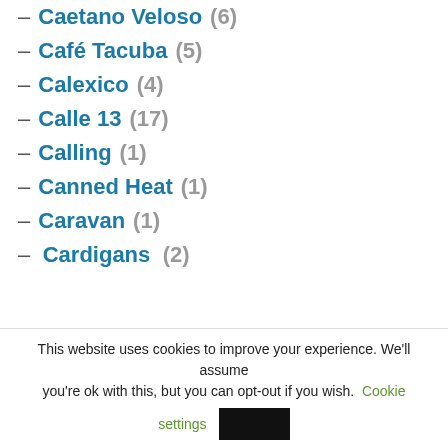– Caetano Veloso (6)
– Café Tacuba (5)
– Calexico (4)
– Calle 13 (17)
– Calling (1)
– Canned Heat (1)
– Caravan (1)
– Cardigans (2)
This website uses cookies to improve your experience. We'll assume you're ok with this, but you can opt-out if you wish. Cookie settings